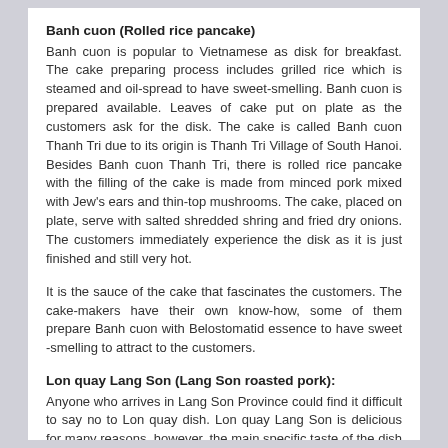Banh cuon (Rolled rice pancake)
Banh cuon is popular to Vietnamese as disk for breakfast. The cake preparing process includes grilled rice which is steamed and oil-spread to have sweet-smelling. Banh cuon is prepared available. Leaves of cake put on plate as the customers ask for the disk. The cake is called Banh cuon Thanh Tri due to its origin is Thanh Tri Village of South Hanoi. Besides Banh cuon Thanh Tri, there is rolled rice pancake with the filling of the cake is made from minced pork mixed with Jew's ears and thin-top mushrooms. The cake, placed on plate, serve with salted shredded shring and fried dry onions. The customers immediately experience the disk as it is just finished and still very hot.
It is the sauce of the cake that fascinates the customers. The cake-makers have their own know-how, some of them prepare Banh cuon with Belostomatid essence to have sweet -smelling to attract to the customers.
Lon quay Lang Son (Lang Son roasted pork):
Anyone who arrives in Lang Son Province could find it difficult to say no to Lon quay dish. Lon quay Lang Son is delicious for many reasons, however, the main specific taste of the dish comes from the unique flavor of a kind of leaf called "Mac mat" (meaning "sweet leaf"). The leaf is soaked with spices, fish sauce, glutamate, flavoring